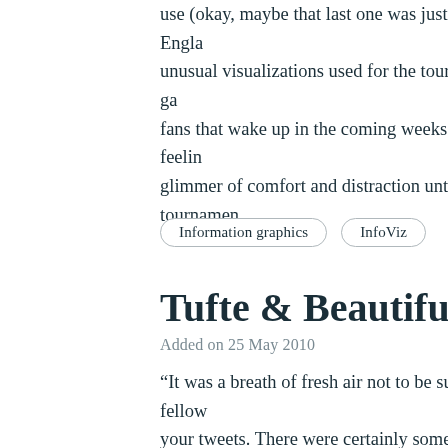use (okay, maybe that last one was just from a bitter Engla... unusual visualizations used for the tournament brackets, ga... fans that wake up in the coming weeks with an empty feelin... glimmer of comfort and distraction until the next tournamen...
Information graphics
InfoViz
Tufte & Beautiful Evidenc...
Added on 25 May 2010
“It was a breath of fresh air not to be surrounded by fellow ... your tweets. There were certainly some designers and UX p... lecture rather than a presentation. During the introduction a... reading from notes. But the core of the content, around anal... was when Tufte and the lecture came to life. My take out fr... but how it is brought to life is critical for its interpretation a... Tufte’s recurring theme about how to visualise data, avoidin...